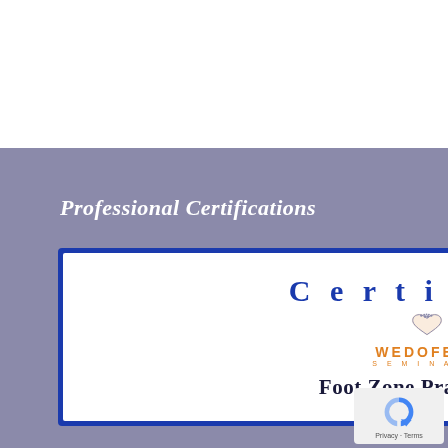Professional Certifications
[Figure (logo): Certified WedoFeet Seminars Foot Zone Practitioner badge/certificate logo with blue border, heart and feet icon, orange WEDOFEET SEMINARS text]
[Figure (logo): Google reCAPTCHA icon with Privacy - Terms text]